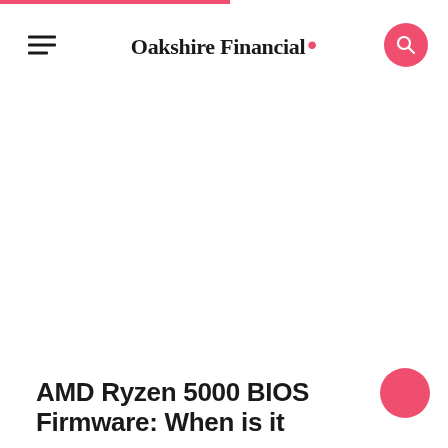Oakshire Financial
AMD Ryzen 5000 BIOS Firmware: When is it...